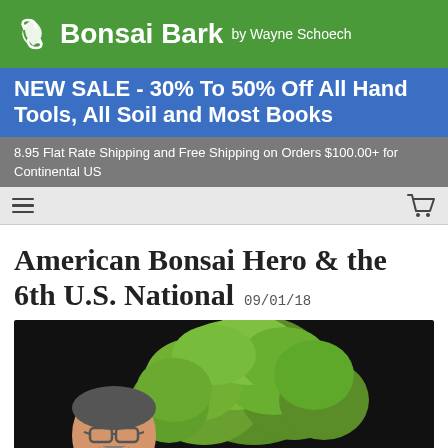Bonsai Bark by Wayne Schoech
NEW SALE - 30% To 50% Off All Hand Tools, All Soil and Most Books
8.95 Flat Rate Shipping and Free Shipping on Orders $100.00+ for Continental US
American Bonsai Hero & the 6th U.S. National  09/01/18
[Figure (photo): A man with glasses smiling, positioned in front of a lush green bonsai tree with a dark background]